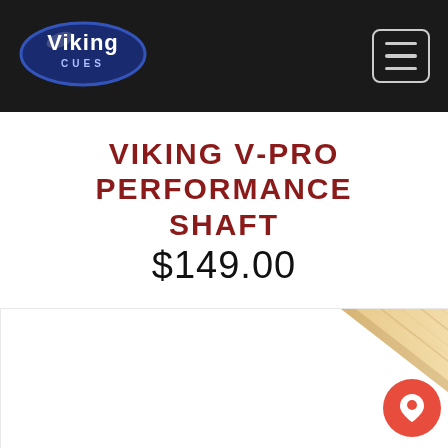Viking Cues
VIKING V-PRO PERFORMANCE SHAFT
$149.00
[Figure (photo): Product image of a Viking V-Pro billiard cue shaft shown diagonally, made of light maple wood, partially visible from the right side of the product image area.]